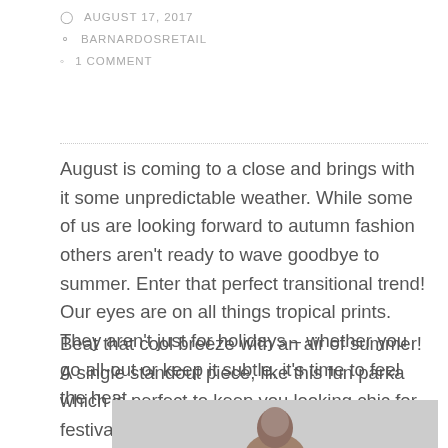AUGUST 17, 2017
BARNARDOSRETAIL
1 COMMENT
August is coming to a close and brings with it some unpredictable weather. While some of us are looking forward to autumn fashion others aren't ready to wave goodbye to summer. Enter that perfect transitional trend! Our eyes are on all things tropical prints. They aren't just for holidays – whether you go all-out or keep it subtle, it's time to feel the heat.
Beat that cool breeze with an air of summer! A single standout piece, like this fun parka which is perfect to keep you looking chic for festival season.
[Figure (photo): A person wearing a tropical print parka, shown from the shoulders up with a light grey background.]